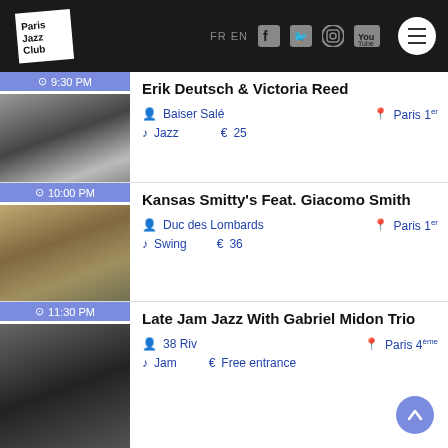Paris Jazz Club — FR EN — social icons — menu
9:30 PM — Erik Deutsch & Victoria Reed — Baiser Salé — Paris 1er — Jazz — €25
10:00 PM — Kansas Smitty's Feat. Giacomo Smith — Duc des Lombards — Paris 1er — Swing — €36
11:30 PM — Late Jam Jazz With Gabriel Midon Trio — 38 Riv — Paris 4ème — Jam — Free entrance